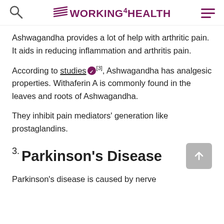WORKING4HEALTH
Ashwagandha provides a lot of help with arthritic pain. It aids in reducing inflammation and arthritis pain.
According to studies [3], Ashwagandha has analgesic properties. Withaferin A is commonly found in the leaves and roots of Ashwagandha.
They inhibit pain mediators' generation like prostaglandins.
3. Parkinson's Disease
Parkinson's disease is caused by nerve